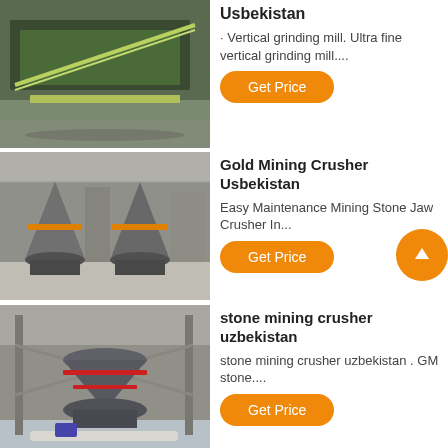[Figure (photo): Industrial green machinery/conveyor in a warehouse]
Usbekistan
· Vertical grinding mill. Ultra fine vertical grinding mill....
Get Price
[Figure (photo): Large industrial cone crusher machines inside a factory]
Gold Mining Crusher Usbekistan
Easy Maintenance Mining Stone Jaw Crusher In...
Get Price
[Figure (photo): Stone mining crusher machine in a factory building]
stone mining crusher uzbekistan
stone mining crusher uzbekistan . GM stone....
Get Price